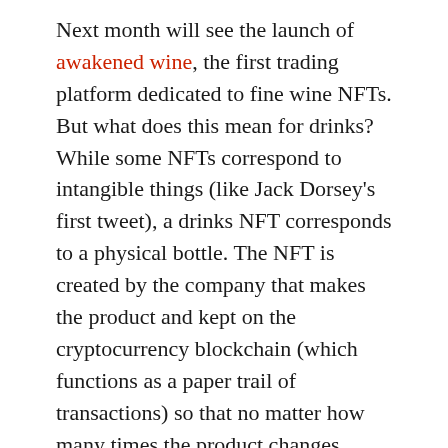Next month will see the launch of awakened wine, the first trading platform dedicated to fine wine NFTs. But what does this mean for drinks? While some NFTs correspond to intangible things (like Jack Dorsey's first tweet), a drinks NFT corresponds to a physical bottle. The NFT is created by the company that makes the product and kept on the cryptocurrency blockchain (which functions as a paper trail of transactions) so that no matter how many times the product changes hands, its authenticity is guaranteed.
The world's first NFT marketplace for collectible beverages was block bar, launching in late 2021. Unlike a traditional auction house, which sources from various distributors and collectors, BlockBar sources directly from the brand owner. Many products also come with some kind of limited edition feature – a unique edition number, an unusual format, a work of art. The bottles are stored in a high security warehouse in Singapore. If a user decides to redeem or "burn" their NFT, BlockBar will deliver the bottle to their doorstep. Once the NFT is exchanged, it is no longer